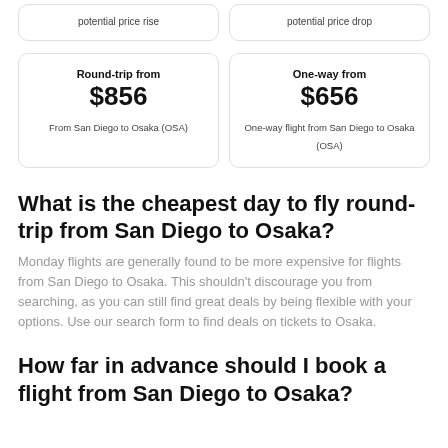potential price rise
potential price drop
Round-trip from $856
From San Diego to Osaka (OSA)
One-way from $656
One-way flight from San Diego to Osaka (OSA)
What is the cheapest day to fly round-trip from San Diego to Osaka?
Monday flights are generally found to be more expensive for flights from San Diego to Osaka. This shouldn't discourage you from searching, as you can still find great deals by being flexible with your options. Use our search form to find deals on tickets to Osaka.
How far in advance should I book a flight from San Diego to Osaka?